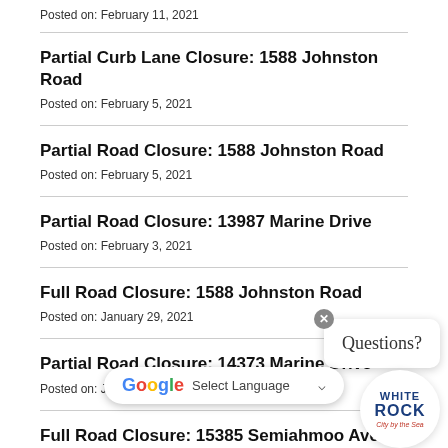Posted on: February 11, 2021
Partial Curb Lane Closure: 1588 Johnston Road
Posted on: February 5, 2021
Partial Road Closure: 1588 Johnston Road
Posted on: February 5, 2021
Partial Road Closure: 13987 Marine Drive
Posted on: February 3, 2021
Full Road Closure: 1588 Johnston Road
Posted on: January 29, 2021
Partial Road Closure: 14373 Marine Drive
Posted on: January 29, 2021
Full Road Closure: 15385 Semiahmoo Ave.
Posted on: January 28, 2021
Full Road Closure: 14379 Blackburn Avenue